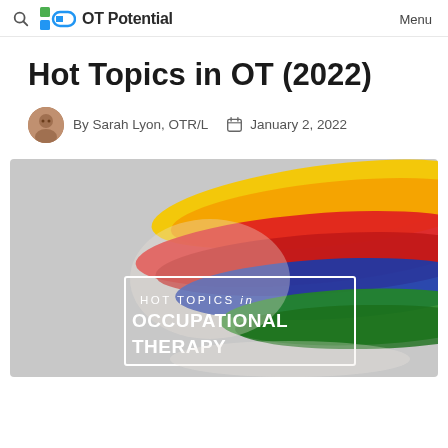OT Potential | Menu
Hot Topics in OT (2022)
By Sarah Lyon, OTR/L  January 2, 2022
[Figure (photo): Banner image with colorful paint brushstrokes (rainbow colors) on a grey background, with white text overlay reading: HOT TOPICS in OCCUPATIONAL THERAPY, inside a white rectangle border]